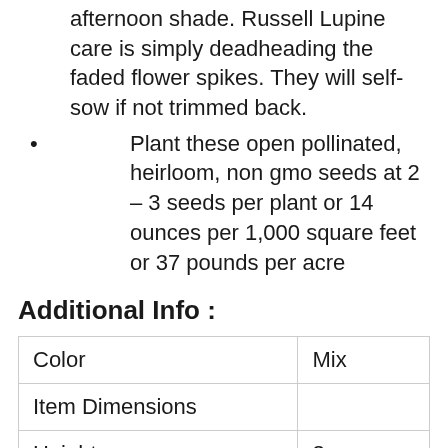afternoon shade. Russell Lupine care is simply deadheading the faded flower spikes. They will self-sow if not trimmed back.
Plant these open pollinated, heirloom, non gmo seeds at 2 – 3 seeds per plant or 14 ounces per 1,000 square feet or 37 pounds per acre
Additional Info :
|  |  |
| --- | --- |
| Color | Mix |
| Item Dimensions |  |
| Height | 3 |
| Width | 0.25 |